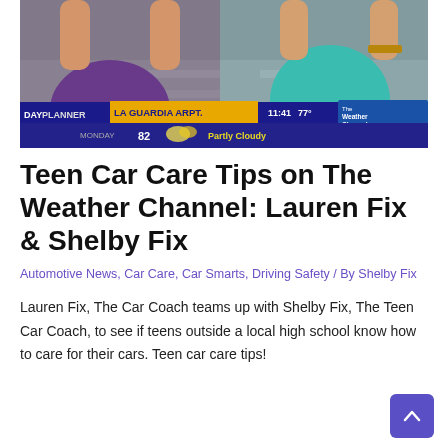[Figure (screenshot): TV screenshot showing two women on The Weather Channel with a DAYPLANNER lower-third graphic showing LA GUARDIA ARPT. 11:41 77° Monday 82 Partly Cloudy and The Weather Channel logo]
Teen Car Care Tips on The Weather Channel: Lauren Fix & Shelby Fix
Automotive News, Car Care, Car Smarts, Driving Safety / By Shelby Fix
Lauren Fix, The Car Coach teams up with Shelby Fix, The Teen Car Coach, to see if teens outside a local high school know how to care for their cars. Teen car care tips!